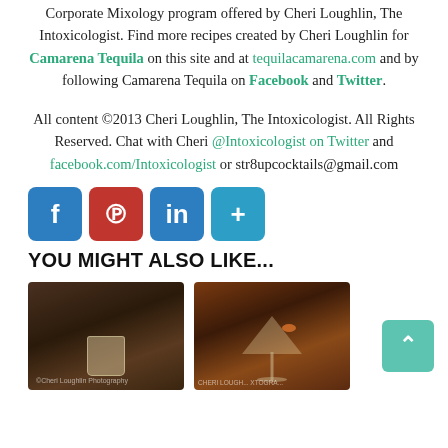Corporate Mixology program offered by Cheri Loughlin, The Intoxicologist. Find more recipes created by Cheri Loughlin for Camarena Tequila on this site and at tequilacamarena.com and by following Camarena Tequila on Facebook and Twitter.
All content ©2013 Cheri Loughlin, The Intoxicologist. All Rights Reserved. Chat with Cheri @Intoxicologist on Twitter and facebook.com/Intoxicologist or str8upcocktails@gmail.com
[Figure (other): Social share icons: Facebook (blue), Pinterest (red), LinkedIn (blue), More/Plus (teal)]
YOU MIGHT ALSO LIKE...
[Figure (photo): Photo of a shot glass on a dark bar counter, watermark: ©Cheri Loughlin Photography]
[Figure (photo): Photo of a martini glass with an orange garnish against a warm background, watermark: CHERI LOUGH... XTOGRA...]